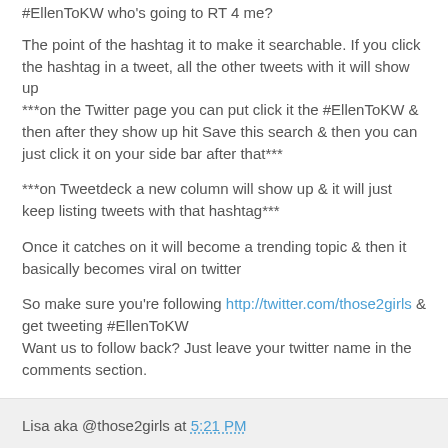#EllenToKW who's going to RT 4 me?
The point of the hashtag it to make it searchable. If you click the hashtag in a tweet, all the other tweets with it will show up
***on the Twitter page you can put click it the #EllenToKW & then after they show up hit Save this search & then you can just click it on your side bar after that***
***on Tweetdeck a new column will show up & it will just keep listing tweets with that hashtag***
Once it catches on it will become a trending topic & then it basically becomes viral on twitter
So make sure you're following http://twitter.com/those2girls & get tweeting #EllenToKW
Want us to follow back? Just leave your twitter name in the comments section.
Lisa aka @those2girls at 5:21 PM